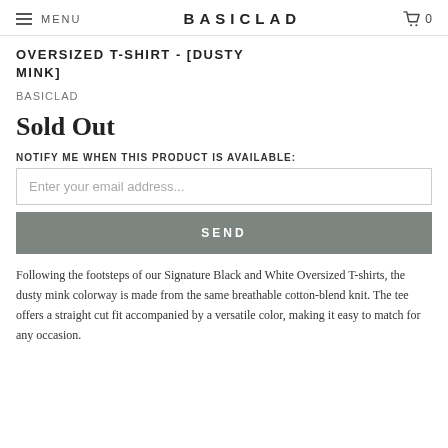MENU  BASICLAD  0
OVERSIZED T-SHIRT - [DUSTY MINK]
BASICLAD
Sold Out
NOTIFY ME WHEN THIS PRODUCT IS AVAILABLE:
Enter your email address...
SEND
Following the footsteps of our Signature Black and White Oversized T-shirts, the dusty mink colorway is made from the same breathable cotton-blend knit. The tee offers a straight cut fit accompanied by a versatile color, making it easy to match for any occasion.